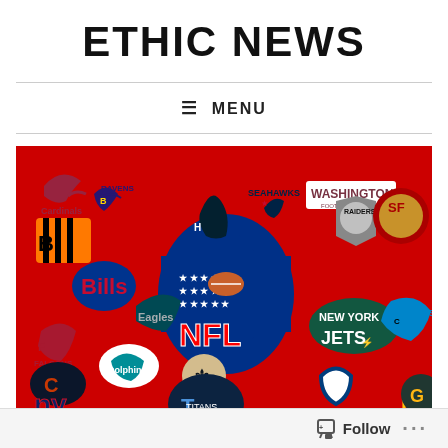ETHIC NEWS
≡ MENU
[Figure (photo): Collage of NFL team logos on a red background, including Raiders, Jets, 49ers, Washington Football Team, Panthers, Giants, Titans, Bears, Dolphins, Saints, Eagles, Falcons, Bills, Texans, Bengals, Ravens, Cardinals, Seahawks, Patriots, Colts, Chargers, Packers, and the central NFL shield logo.]
Follow ...